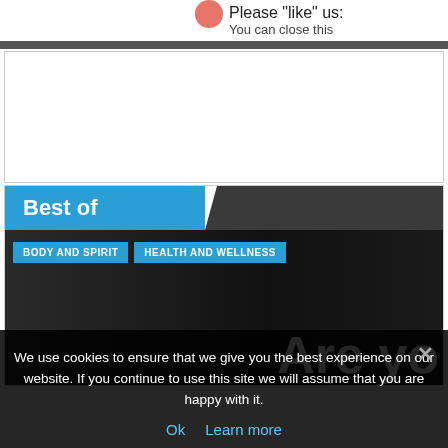Please "like" us: You can close this
[Figure (screenshot): Empty white advertisement box with border]
Best of
[Figure (photo): Dark article image with two category tags 'BODY AND SPIRIT' and 'HEALTH AND WELLNESS' and large white text starting with 'Are yo']
We use cookies to ensure that we give you the best experience on our website. If you continue to use this site we will assume that you are happy with it.
Ok  Learn more